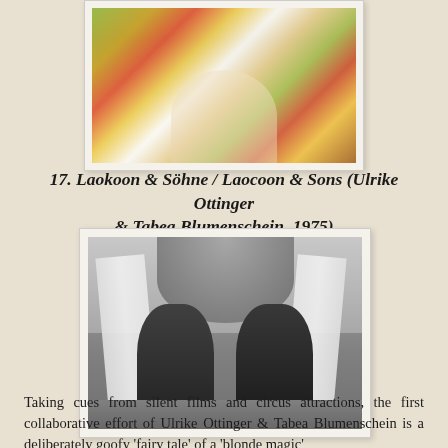[Figure (photo): Top portion of a color photograph showing a person holding colorful flower bouquets, partially cropped at top of page]
17. Laokoon & Söhne / Laocoon & Sons (Ulrike Ottinger & Tabea Blumenschein, 1975)
[Figure (photo): Black and white photograph showing two figures dressed in dark clothing, posed against a backdrop with white draped fabric structures and feathered decorations, likely a still from the 1975 film Laocoon & Sons]
Taking cues from silent films and circus attractions, the first collaborative effort of Ulrike Ottinger & Tabea Blumenschein is a deliberately goofy 'fairy tale' of a 'blonde magic'